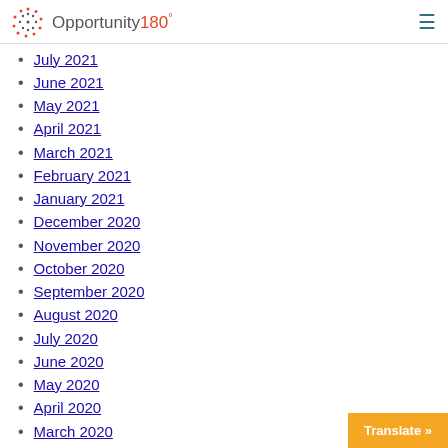Opportunity180°
July 2021
June 2021
May 2021
April 2021
March 2021
February 2021
January 2021
December 2020
November 2020
October 2020
September 2020
August 2020
July 2020
June 2020
May 2020
April 2020
March 2020